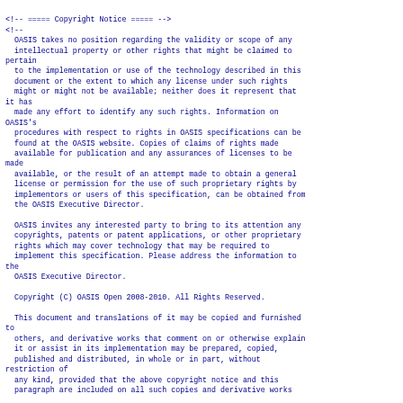<!-- ===== Copyright Notice ===== -->
<!--
  OASIS takes no position regarding the validity or scope of any
  intellectual property or other rights that might be claimed to pertain
  to the implementation or use of the technology described in this
  document or the extent to which any license under such rights
  might or might not be available; neither does it represent that it has
  made any effort to identify any such rights. Information on OASIS's
  procedures with respect to rights in OASIS specifications can be
  found at the OASIS website. Copies of claims of rights made
  available for publication and any assurances of licenses to be made
  available, or the result of an attempt made to obtain a general
  license or permission for the use of such proprietary rights by
  implementors or users of this specification, can be obtained from
  the OASIS Executive Director.

  OASIS invites any interested party to bring to its attention any
  copyrights, patents or patent applications, or other proprietary
  rights which may cover technology that may be required to
  implement this specification. Please address the information to the
  OASIS Executive Director.

  Copyright (C) OASIS Open 2008-2010. All Rights Reserved.

  This document and translations of it may be copied and furnished to
  others, and derivative works that comment on or otherwise explain
  it or assist in its implementation may be prepared, copied,
  published and distributed, in whole or in part, without restriction of
  any kind, provided that the above copyright notice and this
  paragraph are included on all such copies and derivative works